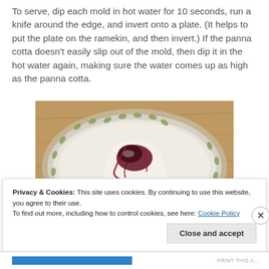To serve, dip each mold in hot water for 10 seconds, run a knife around the edge, and invert onto a plate. (It helps to put the plate on the ramekin, and then invert.) If the panna cotta doesn't easily slip out of the mold, then dip it in the hot water again, making sure the water comes up as high as the panna cotta.
[Figure (photo): A white panna cotta with dark berry sauce on a decorative plate with green leaf pattern on a wooden surface]
Privacy & Cookies: This site uses cookies. By continuing to use this website, you agree to their use.
To find out more, including how to control cookies, see here: Cookie Policy